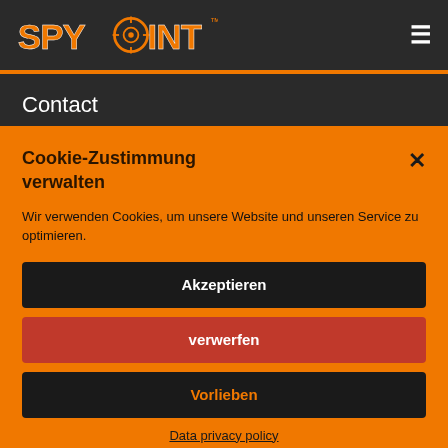[Figure (logo): SPYPOINT logo in white/orange on dark background, navigation bar with hamburger menu icon]
Contact
Cookie-Zustimmung verwalten
Wir verwenden Cookies, um unsere Website und unseren Service zu optimieren.
Akzeptieren
verwerfen
Vorlieben
Data privacy policy